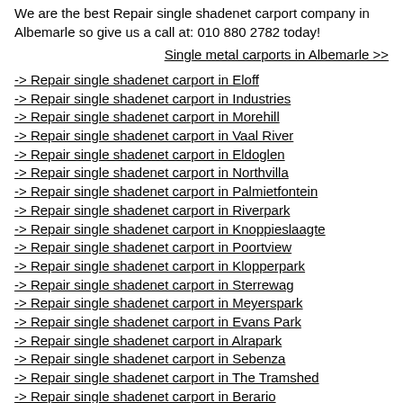We are the best Repair single shadenet carport company in Albemarle so give us a call at: 010 880 2782 today!
Single metal carports in Albemarle >>
-> Repair single shadenet carport in Eloff
-> Repair single shadenet carport in Industries
-> Repair single shadenet carport in Morehill
-> Repair single shadenet carport in Vaal River
-> Repair single shadenet carport in Eldoglen
-> Repair single shadenet carport in Northvilla
-> Repair single shadenet carport in Palmietfontein
-> Repair single shadenet carport in Riverpark
-> Repair single shadenet carport in Knoppieslaagte
-> Repair single shadenet carport in Poortview
-> Repair single shadenet carport in Klopperpark
-> Repair single shadenet carport in Sterrewag
-> Repair single shadenet carport in Meyerspark
-> Repair single shadenet carport in Evans Park
-> Repair single shadenet carport in Alrapark
-> Repair single shadenet carport in Sebenza
-> Repair single shadenet carport in The Tramshed
-> Repair single shadenet carport in Berario
-> Repair single shadenet carport in Enstra
-> Repair single shadenet carport in Edenburg
-> Repair single shadenet carport in Ekklesia
-> Repair single shadenet carport in Reportstonhill...